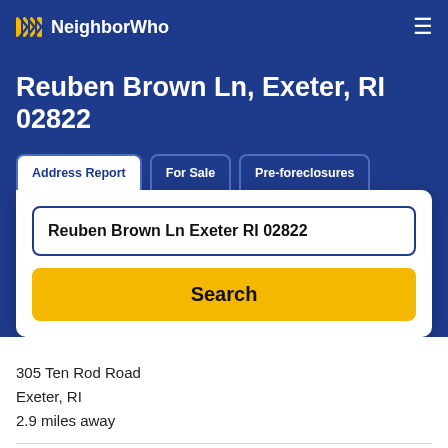NeighborWho
Reuben Brown Ln, Exeter, RI 02822
Address Report | For Sale | Pre-foreclosures
Reuben Brown Ln Exeter RI 02822
Search
305 Ten Rod Road
Exeter, RI
2.9 miles away